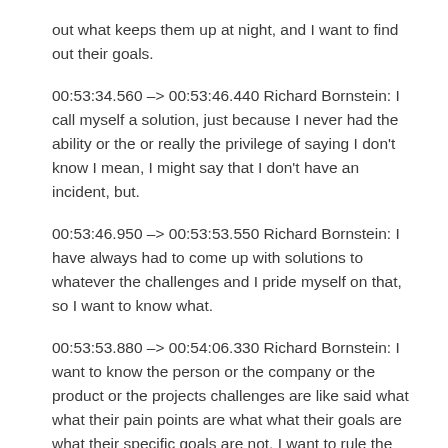out what keeps them up at night, and I want to find out their goals.
00:53:34.560 –> 00:53:46.440 Richard Bornstein: I call myself a solution, just because I never had the ability or the or really the privilege of saying I don't know I mean, I might say that I don't have an incident, but.
00:53:46.950 –> 00:53:53.550 Richard Bornstein: I have always had to come up with solutions to whatever the challenges and I pride myself on that, so I want to know what.
00:53:53.880 –> 00:54:06.330 Richard Bornstein: I want to know the person or the company or the product or the projects challenges are like said what what their pain points are what what their goals are what their specific goals are not, I want to rule the world okay that's great.
00:54:07.560 –> 00:54:07.800 ...